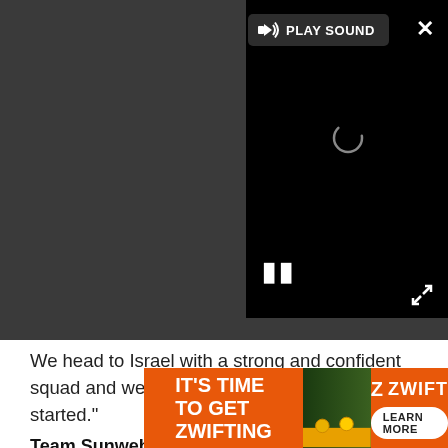[Figure (screenshot): Video player embed showing a dark bar with a 'PLAY SOUND' button, a loading spinner, pause button, close (X) button, and expand/fullscreen icon over a black video screen.]
We head to Israel with a strong and confident squad and we look forward to getting the Giro started."
Team Sunweb line-up for Giro d'Italia
[Figure (screenshot): Advertisement banner: orange background with white bold text 'IT'S TIME TO GET ZWIFTING', cycling photo, and ZWIFT logo with 'LEARN MORE' button.]